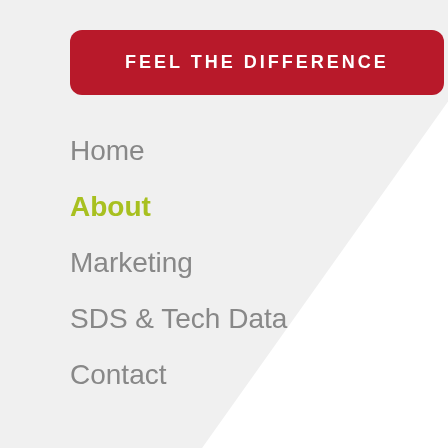FEEL THE DIFFERENCE
Home
About
Marketing
SDS & Tech Data
Contact
Boss Process
Detailer's Choice